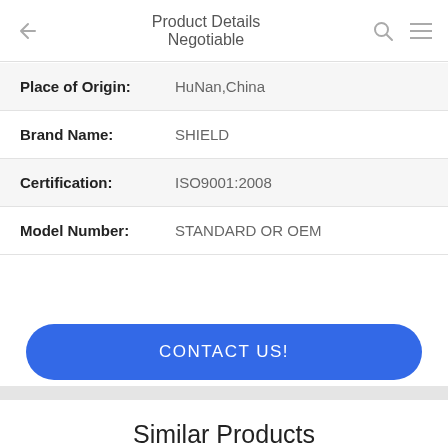Product Details / Negotiable
| Field | Value |
| --- | --- |
| Place of Origin: | HuNan,China |
| Brand Name: | SHIELD |
| Certification: | ISO9001:2008 |
| Model Number: | STANDARD OR OEM |
CONTACT US!
DETAILS
Similar Products